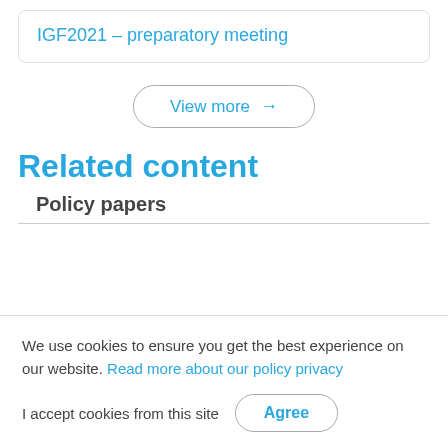IGF2021 – preparatory meeting
View more →
Related content
Policy papers
We use cookies to ensure you get the best experience on our website. Read more about our policy privacy
I accept cookies from this site  Agree